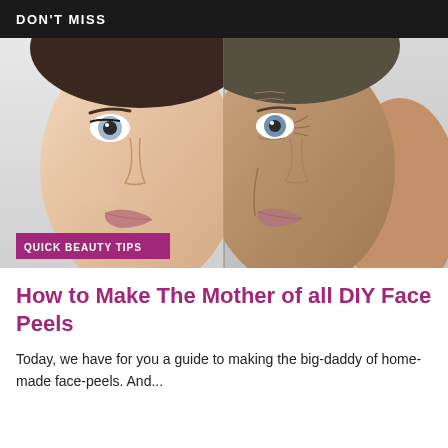DON'T MISS
[Figure (photo): Split before/after comparison of two women's faces: left side shows a younger woman with smooth skin, right side shows an older woman with visible wrinkles touching her face. A purple 'QUICK BEAUTY TIPS' tag overlays the bottom-left of the image.]
How to Make The Mother of all DIY Face Peels
Today, we have for you a guide to making the big-daddy of home-made face-peels. And...